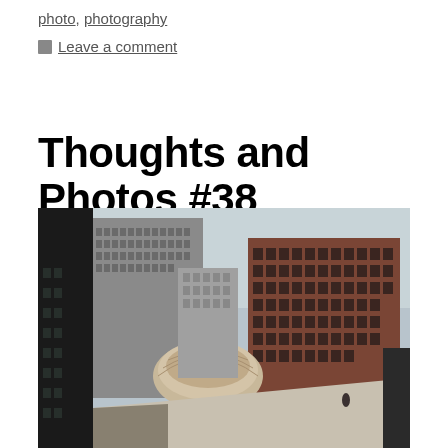photo, photography
Leave a comment
Thoughts and Photos #38
[Figure (photo): Aerial view of urban cityscape showing tall buildings, a domed structure in the center, and a rooftop in the foreground with a person sitting on the edge. Dark silhouetted building frames the left side.]